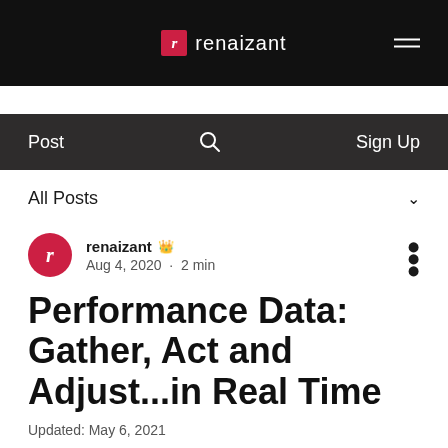renaizant
Post  Sign Up
All Posts
renaizant  Aug 4, 2020 · 2 min
Performance Data: Gather, Act and Adjust...in Real Time
Updated: May 6, 2021